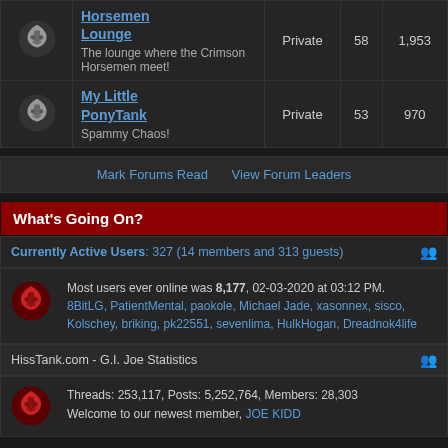| Icon | Forum | Status | Topics | Posts |
| --- | --- | --- | --- | --- |
| [cobra icon] | Horsemen Lounge
The lounge where the Crimson Horsemen meet! | Private | 58 | 1,953 |
| [cobra icon] | My Little PonyTank
Spammy Chaos! | Private | 53 | 970 |
Mark Forums Read   View Forum Leaders
What's Going On?
Currently Active Users: 327 (14 members and 313 guests)
Most users ever online was 8,177, 02-03-2020 at 03:12 PM.
8BitLG, PatientMental, paokole, Michael Jade, xasonnex, sisco, Kolschey, briking, pk22551, sevenlima, HulkHogan, Dreadnok4life
HissTank.com - G.I. Joe Statistics
Threads: 253,117, Posts: 5,252,764, Members: 28,303
Welcome to our newest member, JOE KIDD